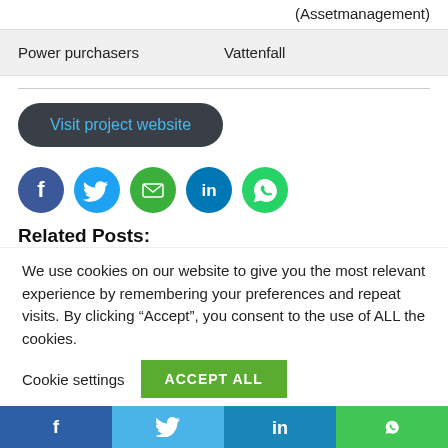(Assetmanagement)
| Power purchasers | Vattenfall |
| --- | --- |
Visit project website
[Figure (infographic): Row of 5 social media sharing icons: Facebook (dark blue), Twitter (light blue), Email (green), LinkedIn (blue), WhatsApp (green)]
Related Posts:
We use cookies on our website to give you the most relevant experience by remembering your preferences and repeat visits. By clicking “Accept”, you consent to the use of ALL the cookies.
Cookie settings  ACCEPT ALL
[Figure (infographic): Bottom navigation bar with four social media icons: Facebook (dark blue), Twitter (light blue), LinkedIn (blue), WhatsApp (green)]